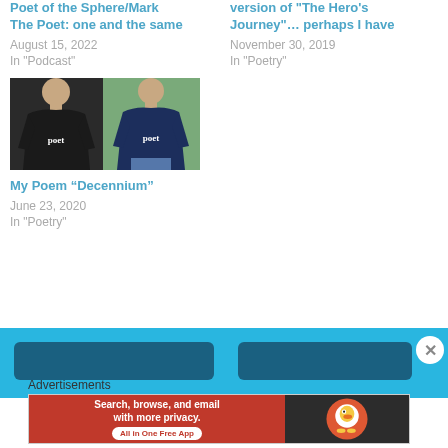Poet of the Sphere/Mark The Poet: one and the same
August 15, 2022
In "Podcast"
version of "The Hero's Journey"… perhaps I have
November 30, 2019
In "Poetry"
[Figure (photo): Two photos side by side of a man wearing a black t-shirt with 'poet' text, and another wearing a navy blue t-shirt with 'poet' text]
My Poem “Decennium”
June 23, 2020
In "Poetry"
[Figure (screenshot): Blue footer bar with two dark blue navigation buttons and an advertisement for DuckDuckGo showing 'Search, browse, and email with more privacy. All in One Free App']